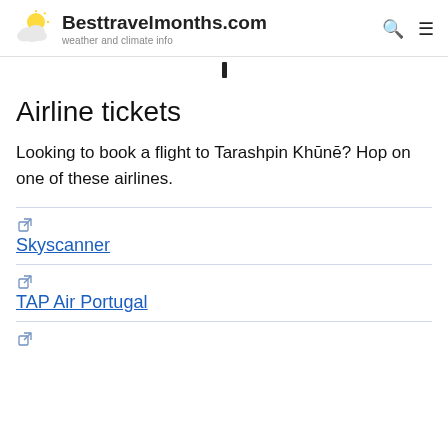Besttravelmonths.com — weather and climate info
Airline tickets
Looking to book a flight to Tarashpin Khūnē? Hop on one of these airlines.
Skyscanner
TAP Air Portugal